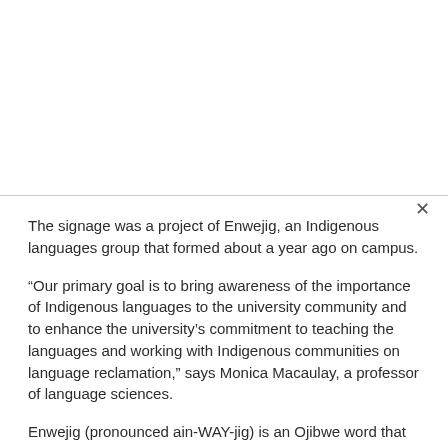The signage was a project of Enwejig, an Indigenous languages group that formed about a year ago on campus.
“Our primary goal is to bring awareness of the importance of Indigenous languages to the university community and to enhance the university’s commitment to teaching the languages and working with Indigenous communities on language reclamation,” says Monica Macaulay, a professor of language sciences.
Enwejig (pronounced ain-WAY-jig) is an Ojibwe word that means “those who speak.” The name honors the speakers and learners of Indigenous languages, says Brian McInnes, an associate professor of civil society and community studies/American Indian studies.